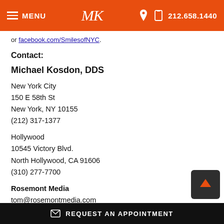MENU | MK | 212.658.1440
or facebook.com/SmilesofNYC.
Contact:
Michael Kosdon, DDS
New York City
150 E 58th St
New York, NY 10155
(212) 317-1377
Hollywood
10545 Victory Blvd.
North Hollywood, CA 91606
(310) 277-7700
Rosemont Media
tom@rosemontmedia.com
(858) 000-0044
REQUEST AN APPOINTMENT